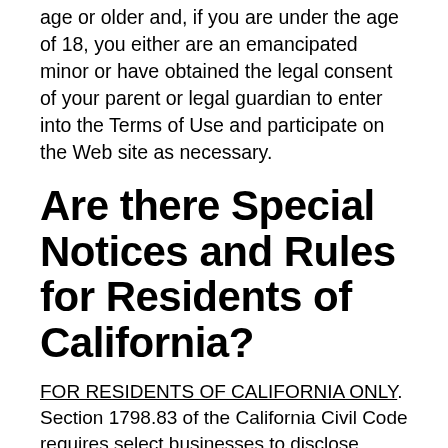age or older and, if you are under the age of 18, you either are an emancipated minor or have obtained the legal consent of your parent or legal guardian to enter into the Terms of Use and participate on the Web site as necessary.
Are there Special Notices and Rules for Residents of California?
FOR RESIDENTS OF CALIFORNIA ONLY. Section 1798.83 of the California Civil Code requires select businesses to disclose policies relating to the sharing of certain categories of your